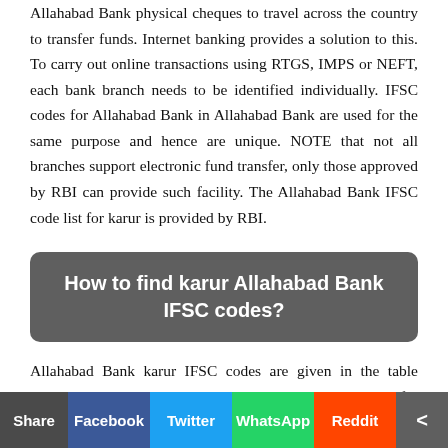Allahabad Bank physical cheques to travel across the country to transfer funds. Internet banking provides a solution to this. To carry out online transactions using RTGS, IMPS or NEFT, each bank branch needs to be identified individually. IFSC codes for Allahabad Bank in Allahabad Bank are used for the same purpose and hence are unique. NOTE that not all branches support electronic fund transfer, only those approved by RBI can provide such facility. The Allahabad Bank IFSC code list for karur is provided by RBI.
How to find karur Allahabad Bank IFSC codes?
Allahabad Bank karur IFSC codes are given in the table alongside. Details including address and contact numbers for are also provided. These details will help you to verify the IFSC code with respective banks before the actual transaction. One can further search by branch name specified in the table.
Share | Facebook | Twitter | WhatsApp | Reddit